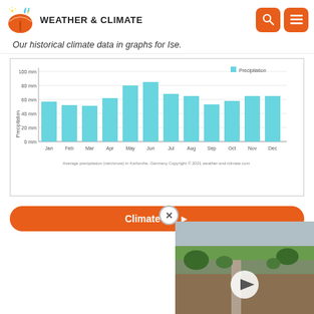WEATHER & CLIMATE
Our historical climate data in graphs for Ise.
[Figure (bar-chart): Average precipitation (rain/snow) in Karlsruhe, Germany  Copyright © 2021  weather-and-climate.com]
Climate Ise ►